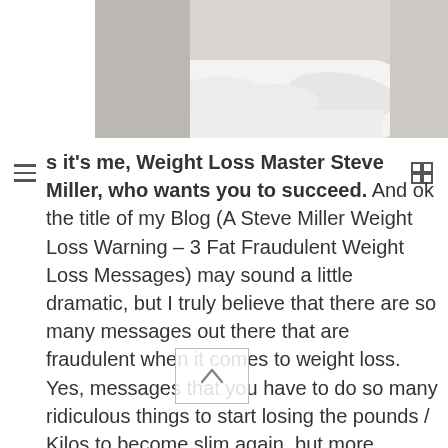[Figure (photo): Partial photo of a person in a white shirt with arms crossed, cropped to show torso and folded arms against white background]
s it's me, Weight Loss Master Steve Miller, who wants you to succeed. And ok the title of my Blog (A Steve Miller Weight Loss Warning – 3 Fat Fraudulent Weight Loss Messages) may sound a little dramatic, but I truly believe that there are so many messages out there that are fraudulent when it comes to weight loss. Yes, messages that you have to do so many ridiculous things to start losing the pounds / Kilos to become slim again, but more worrying are the ridiculous myths that perpetuate excuse living.

These are messages that I Steve Miller often warn people about, whether that be in my consulting room or when I walk the dog chatting to people as I experience the fresh air on my very high forehead. Yes, I keep